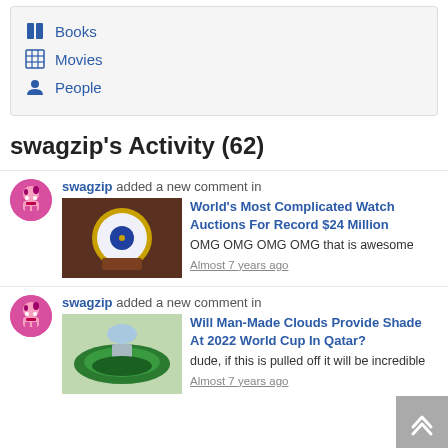Books
Movies
People
swagzip's Activity (62)
swagzip added a new comment in World's Most Complicated Watch Auctions For Record $24 Million OMG OMG OMG OMG that is awesome Almost 7 years ago
swagzip added a new comment in Will Man-Made Clouds Provide Shade At 2022 World Cup In Qatar? dude, if this is pulled off it will be incredible Almost 7 years ago